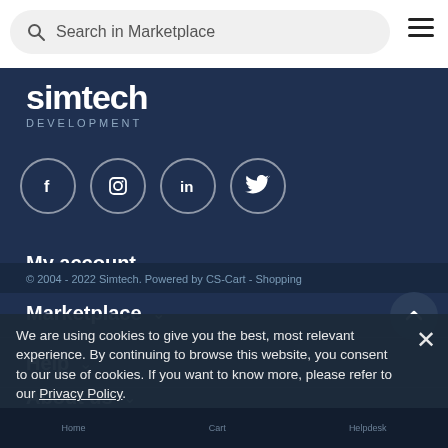Search in Marketplace
[Figure (logo): Simtech Development logo — white text on dark navy background]
[Figure (illustration): Social media icons: Facebook, Instagram, LinkedIn, Twitter — white circle outlines on dark navy]
My account
Marketplace
Help
About us
© 2004 - 2022 Simtech. Powered by CS-Cart - Shopping
We are using cookies to give you the best, most relevant experience. By continuing to browse this website, you consent to our use of cookies. If you want to know more, please refer to our Privacy Policy.